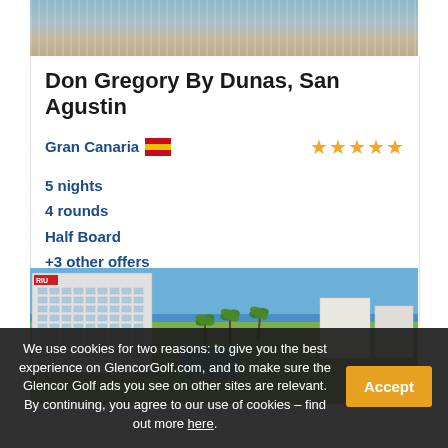[Figure (photo): Hotel pool/beach area aerial photo at top of page]
Don Gregory By Dunas, San Agustin
Gran Canaria 🇪🇸  ★★★★★
5 nights
4 rounds
Half Board
+3 other offers
From £568
[Figure (photo): RIU hotel exterior with pool, palm trees and ocean view]
We use cookies for two reasons: to give you the best experience on GlencorGolf.com, and to make sure the Glencor Golf ads you see on other sites are relevant. By continuing, you agree to our use of cookies – find out more here.